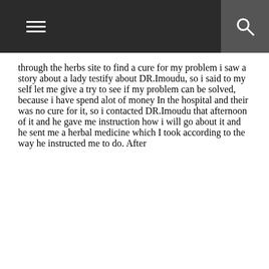through the herbs site to find a cure for my problem i saw a story about a lady testify about DR.Imoudu, so i said to my self let me give a try to see if my problem can be solved, because i have spend alot of money In the hospital and their was no cure for it, so i contacted DR.Imoudu that afternoon of it and he gave me instruction how i will go about it and he sent me a herbal medicine which I took according to the way he instructed me to do. After